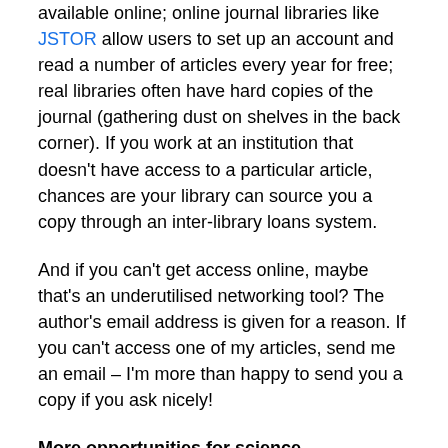available online; online journal libraries like JSTOR allow users to set up an account and read a number of articles every year for free; real libraries often have hard copies of the journal (gathering dust on shelves in the back corner). If you work at an institution that doesn't have access to a particular article, chances are your library can source you a copy through an inter-library loans system.
And if you can't get access online, maybe that's an underutilised networking tool? The author's email address is given for a reason. If you can't access one of my articles, send me an email – I'm more than happy to send you a copy if you ask nicely!
More opportunities for science communication and engagement!
Scientific articles are not a 'mainstream' medium. They